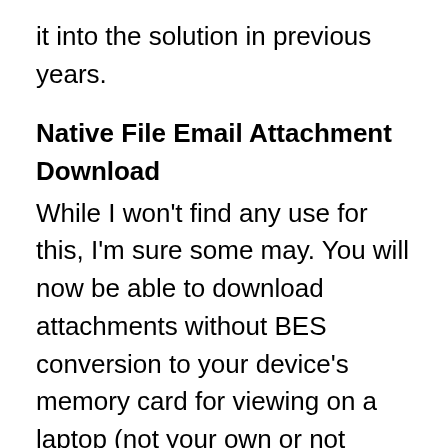it into the solution in previous years.
Native File Email Attachment Download
While I won't find any use for this, I'm sure some may. You will now be able to download attachments without BES conversion to your device's memory card for viewing on a laptop (not your own or not connected) and various other purposes.
From an administration standpoint, unless something has slipped, OTASL (wireless OS upgrades) will be included to help administer OS life-cycle updating procedures and provide a